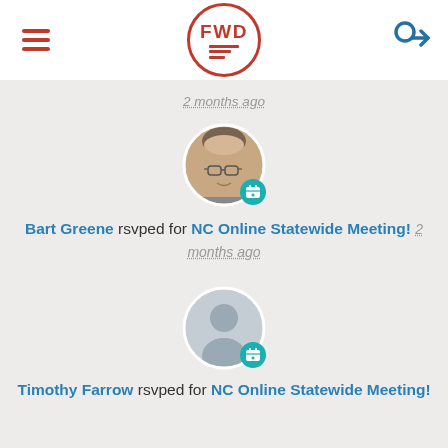FWD [logo with hamburger menu and login icon]
2 months ago
[Figure (photo): Profile photo of Bart Greene, a middle-aged man with glasses, with a teal calendar-plus badge icon]
Bart Greene rsvped for NC Online Statewide Meeting! 2 months ago
[Figure (photo): Generic silhouette avatar for Timothy Farrow with a teal calendar-plus badge icon]
Timothy Farrow rsvped for NC Online Statewide Meeting!